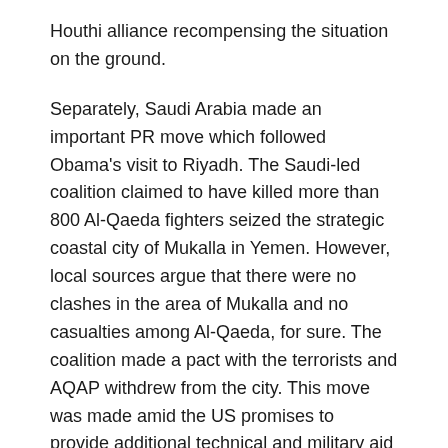Houthi alliance recompensing the situation on the ground.
Separately, Saudi Arabia made an important PR move which followed Obama's visit to Riyadh. The Saudi-led coalition claimed to have killed more than 800 Al-Qaeda fighters seized the strategic coastal city of Mukalla in Yemen. However, local sources argue that there were no clashes in the area of Mukalla and no casualties among Al-Qaeda, for sure. The coalition made a pact with the terrorists and AQAP withdrew from the city. This move was made amid the US promises to provide additional technical and military aid to the UAE in order to fight jihadists in Yemen.
Furthermore, the sides achieved an agreement that, in this case, the US Navy will join the naval blockade of the country. Meanwhile, Saudi Arabia de-facto continues to use AQAP to control different zones of Yemen.